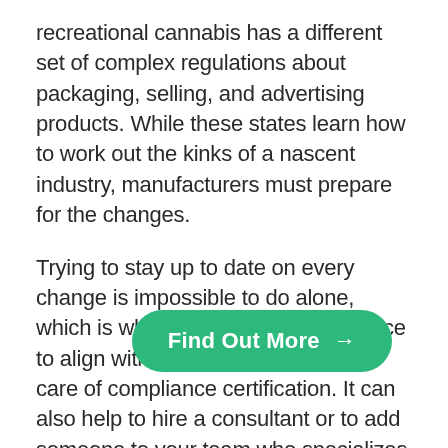recreational cannabis has a different set of complex regulations about packaging, selling, and advertising products. While these states learn how to work out the kinks of a nascent industry, manufacturers must prepare for the changes.
Trying to stay up to date on every change is impossible to do alone, which is why it makes all the difference to align with a workspace that takes care of compliance certification. It can also help to hire a consultant or to add someone to your team who specializes in regulatory updates to save a huge hassle later. Making the mistake of attempting... will only result in a short lifespan for your...
[Figure (other): Green pill-shaped 'Find Out More' call-to-action button with arrow, overlaying the bottom-right of the text]